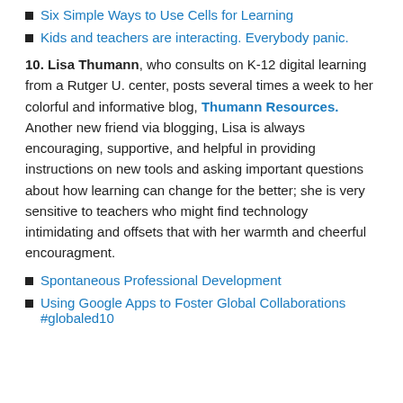Six Simple Ways to Use Cells for Learning
Kids and teachers are interacting. Everybody panic.
10. Lisa Thumann, who consults on K-12 digital learning from a Rutger U. center, posts several times a week to her colorful and informative blog, Thumann Resources. Another new friend via blogging, Lisa is always encouraging, supportive, and helpful in providing instructions on new tools and asking important questions about how learning can change for the better; she is very sensitive to teachers who might find technology intimidating and offsets that with her warmth and cheerful encouragment.
Spontaneous Professional Development
Using Google Apps to Foster Global Collaborations #globaled10